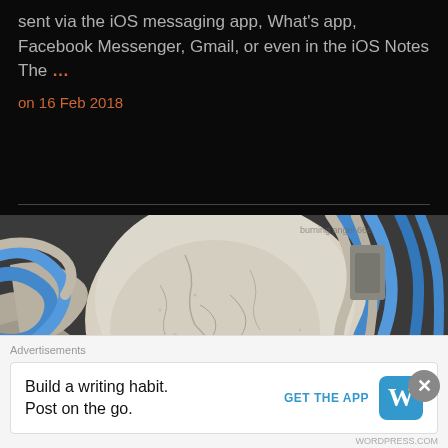sent via the iOS messaging app, What's app, Facebook Messenger, Gmail, or even in the iOS Notes The …
on 16 Feb 2018
[Figure (photo): A cracked white skull or head-shaped object surrounded by blue and grey network/ethernet cables against a dark background]
Advertisements
Build a writing habit. Post on the go. GET THE APP